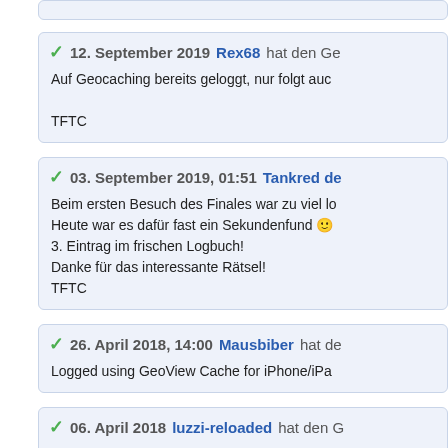12. September 2019 Rex68 hat den Ge...
Auf Geocaching bereits geloggt, nur folgt auc...
TFTC
03. September 2019, 01:51 Tankred de...
Beim ersten Besuch des Finales war zu viel lo...
Heute war es dafür fast ein Sekundenfund 🙂
3. Eintrag im frischen Logbuch!
Danke für das interessante Rätsel!
TFTC
26. April 2018, 14:00 Mausbiber hat de...
Logged using GeoView Cache for iPhone/iPa...
06. April 2018 luzzi-reloaded hat den G...
auf gc.com gefunden